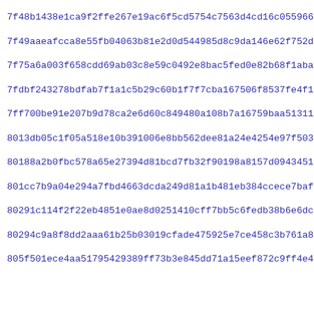7f48b1438e1ca9f2ffe267e19ac6f5cd5754c7563d4cd16c0559666ceb41a
7f49aaeafcca8e55fb04063b81e2d0d544985d8c9da146e62f752dfeb0cfc
7f75a6a003f658cdd69ab03c8e59c0492e8bac5fed0e82b68f1aba862f474
7fdbf243278bdfab7f1a1c5b29c60b1f7f7cba167506f8537fe4f1ab69575
7ff700be91e207b9d78ca2e6d60c849480a108b7a16759baa51311d11226b
8013db05c1f05a518e10b391006e8bb562dee81a24e4254e97f5039686e54
80188a2b0fbc578a65e27394d81bcd7fb32f90198a8157d09434517e4417c
801cc7b9a04e294a7fbd4663dcda249d81a1b481eb384ccece7baf01047e5
80291c114f2f22eb4851e0ae8d0251410cff7bb5c6fedb38b6e6dc162b938
80294c9a8f8dd2aaa61b25b03019cfade475925e7ce458c3b761a84a451cb
805f501ece4aa51795429389ff73b3e845dd71a15eef872c9ff4e48b1a6d2